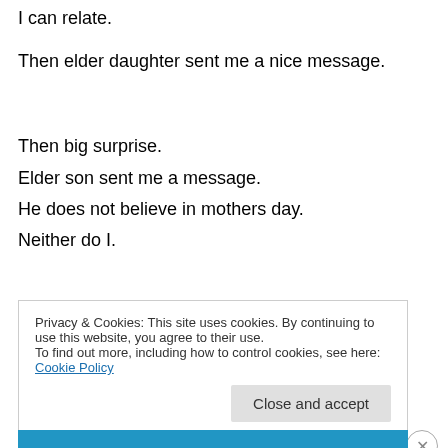I can relate.
Then elder daughter sent me a nice message.
Then big surprise.
Elder son sent me a message.
He does not believe in mothers day.
Neither do I.
Privacy & Cookies: This site uses cookies. By continuing to use this website, you agree to their use.
To find out more, including how to control cookies, see here: Cookie Policy